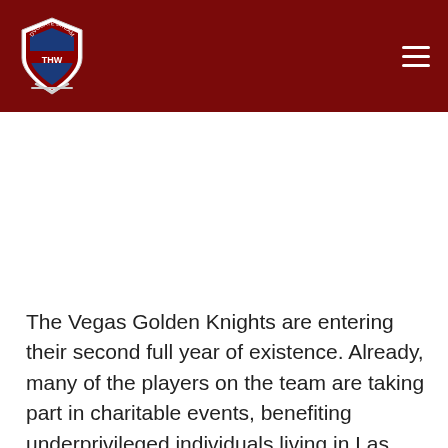THW (The Hockey Writers) site header with logo and navigation
The Vegas Golden Knights are entering their second full year of existence. Already, many of the players on the team are taking part in charitable events, benefiting underprivileged individuals living in Las Vegas. For a city that showcases glamour and charisma regularly, it is masked by an underlying economic disparity, where many families and young people are